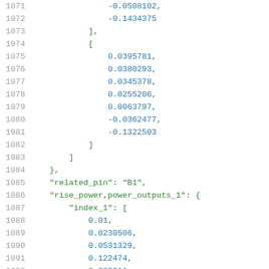Code listing lines 1071-1092 showing JSON/array data with numeric values and key-value pairs including related_pin, rise_power,power_outputs_1, and index_1 fields.